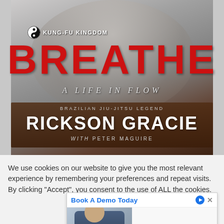[Figure (illustration): Book cover for 'Breathe: A Life in Flow' by Rickson Gracie with Peter Maguire. Large red 'BREATHE' title text over a black-and-white photo of a shirtless martial artist. Kung-Fu Kingdom logo in top left. Subtitle 'A Life in Flow' in italic. 'Brazilian Jiu-Jitsu Legend' above author name 'Rickson Gracie' in large white font. 'With Peter Maguire' at bottom.]
We use cookies on our website to give you the most relevant experience by remembering your preferences and repeat visits. By clicking "Accept", you consent to the use of ALL the cookies.
[Figure (photo): Advertisement overlay showing a smiling man in a blue shirt seated at a desk, with 'Book A Demo Today' text and play/close icons.]